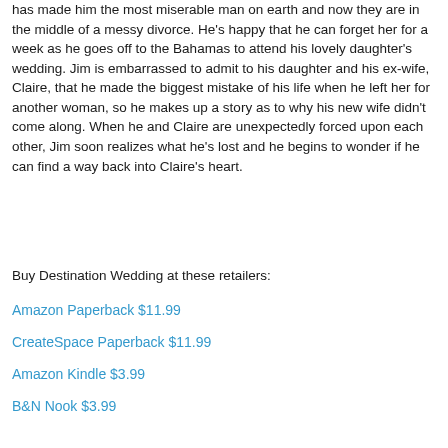has made him the most miserable man on earth and now they are in the middle of a messy divorce. He's happy that he can forget her for a week as he goes off to the Bahamas to attend his lovely daughter's wedding. Jim is embarrassed to admit to his daughter and his ex-wife, Claire, that he made the biggest mistake of his life when he left her for another woman, so he makes up a story as to why his new wife didn't come along. When he and Claire are unexpectedly forced upon each other, Jim soon realizes what he's lost and he begins to wonder if he can find a way back into Claire's heart.
Buy Destination Wedding at these retailers:
Amazon Paperback $11.99
CreateSpace Paperback $11.99
Amazon Kindle $3.99
B&N Nook $3.99